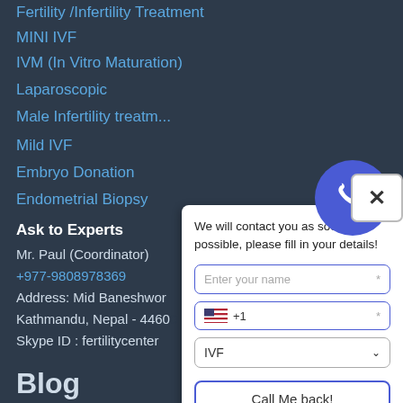Fertility /Infertility Treatment
MINI IVF
IVM (In Vitro Maturation)
Laparoscopic
Male Infertility treatment
Mild IVF
Embryo Donation
Endometrial Biopsy
Ask to Experts
Mr. Paul (Coordinator)
+977-9808978369
Address: Mid Baneshwor
Kathmandu, Nepal - 4460
Skype ID : fertilitycenter
[Figure (screenshot): Contact popup with phone icon circle, close button, form fields for name, phone (+1), dropdown for IVF, Call Me back button, and Message button]
Blog